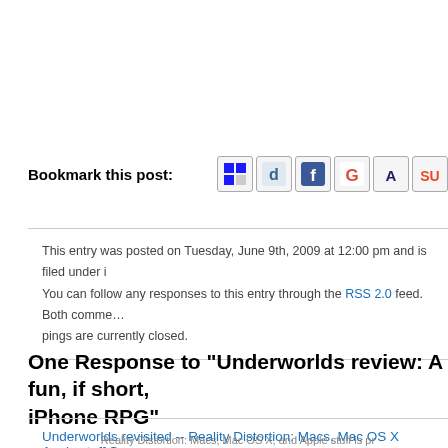Bookmark this post:
[Figure (other): Social bookmarking icons: Delicious, Digg, Facebook, Google, Scribd, StumbleUpon, and more]
This entry was posted on Tuesday, June 9th, 2009 at 12:00 pm and is filed under [link]. You can follow any responses to this entry through the RSS 2.0 feed. Both comments and pings are currently closed.
One Response to “Underworlds review: A fun, if short, iPhone RPG”
Underworlds revisited -- Reality Distortion: Macs, Mac OS X, Apple stuff Says:
January 25th, 2010 at 8:24 am
[...] in June I reviewed Underworlds, a role-playing adventure game for the iPhone. In the review I mentioned a few niggles with the [...]
Reality Distortion: Macs, Mac OS X, and Apple stuff is pr